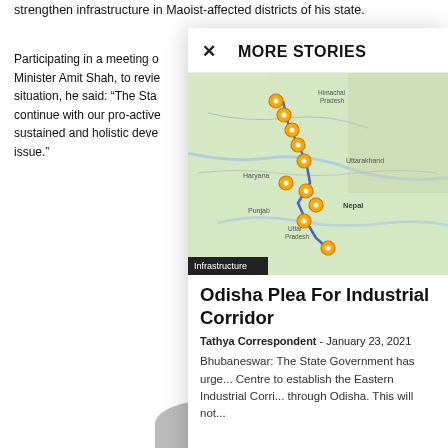strengthen infrastructure in Maoist-affected districts of his state.
Participating in a meeting o... Minister Amit Shah, to revie... situation, he said: “The Sta... continue with our pro-active... sustained and holistic deve... issue.”
MORE STORIES
[Figure (map): Map showing route through northern India with yellow location markers along a blue path passing through Himachal Pradesh, Uttarakhand, Uttar Pradesh towards Nepal region]
Infrastructure
Odisha Plea For Industrial Corridor
Tathya Correspondent - January 23, 2021
Bhubaneswar: The State Government has urge... Centre to establish the Eastern Industrial Corri... through Odisha. This will not...
Previous article
Speed Up Clearances; Odisha